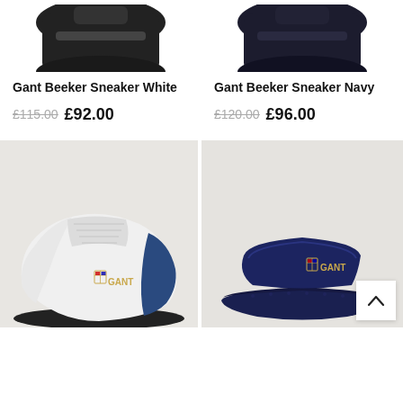[Figure (photo): Gant Beeker Sneaker White - partial top view of dark sneaker cropped at top]
[Figure (photo): Gant Beeker Sneaker Navy - partial top view of dark sneaker cropped at top]
Gant Beeker Sneaker White
£115.00 £92.00
Gant Beeker Sneaker Navy
£120.00 £96.00
[Figure (photo): Gant white sneaker with blue heel and GANT logo on light grey background]
[Figure (photo): Gant navy slide sandal with GANT logo on light grey background, scroll-to-top button overlay]